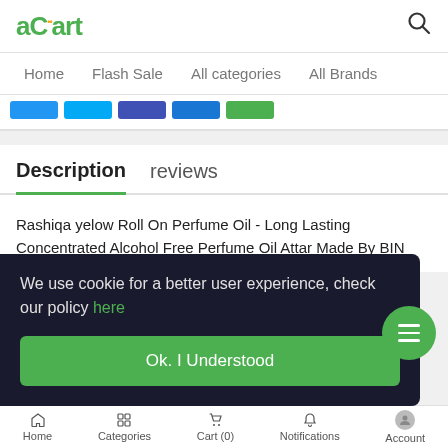[Figure (logo): aCart logo in green with orange dots]
Home  Flash Sale  All categories  All Brands
[Figure (infographic): Colored tab rectangles: blue, light blue, dark blue, medium blue, green]
Description   reviews
Rashiqa yelow Roll On Perfume Oil - Long Lasting Concentrated Alcohol Free Perfume Oil Attar Made By BIN
We use cookie for a better user experience, check our policy here
Ok. I Understood
Home   Categories   Cart (0)   Notifications   Account